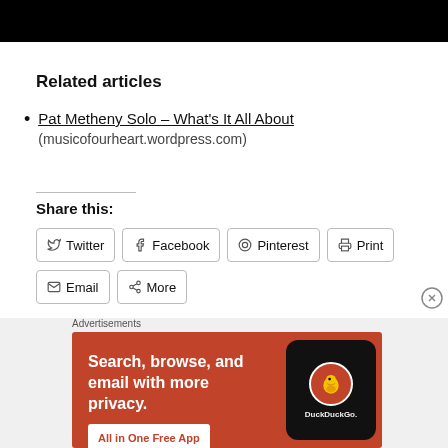[Figure (photo): Black bar at top of page, obscured image]
Related articles
Pat Metheny Solo – What's It All About (musicofourheart.wordpress.com)
Share this:
Twitter  Facebook  Pinterest  Print  Email  More
[Figure (screenshot): DuckDuckGo advertisement banner: Search, browse, and email with more privacy. All in One Free App.]